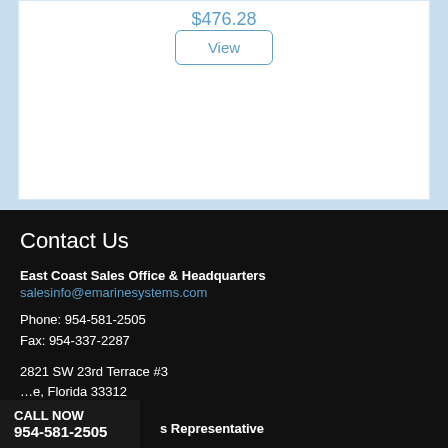$476.28
View
Contact Us
East Coast Sales Office & Headquarters
salesinfo@emarinesystems.com
Phone: 954-581-2505
Fax: 954-337-2287
2821 SW 23rd Terrace #3
Florida 33312
CALL NOW
954-581-2505
s Representative